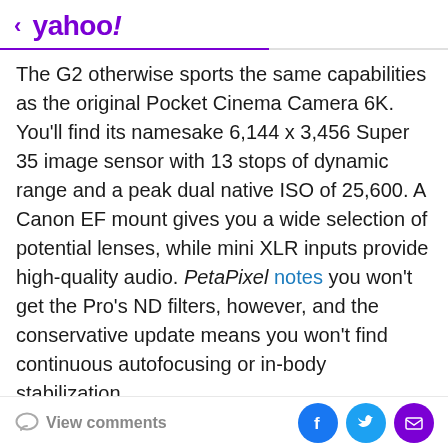< yahoo!
The G2 otherwise sports the same capabilities as the original Pocket Cinema Camera 6K. You'll find its namesake 6,144 x 3,456 Super 35 image sensor with 13 stops of dynamic range and a peak dual native ISO of 25,600. A Canon EF mount gives you a wide selection of potential lenses, while mini XLR inputs provide high-quality audio. PetaPixel notes you won't get the Pro's ND filters, however, and the conservative update means you won't find continuous autofocusing or in-body stabilization.
[Figure (other): Gray advertisement placeholder box]
View comments